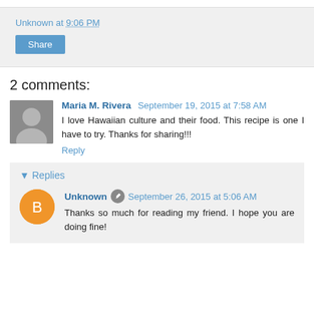Unknown at 9:06 PM
Share
2 comments:
Maria M. Rivera  September 19, 2015 at 7:58 AM
I love Hawaiian culture and their food. This recipe is one I have to try. Thanks for sharing!!!
Reply
Replies
Unknown  September 26, 2015 at 5:06 AM
Thanks so much for reading my friend. I hope you are doing fine!